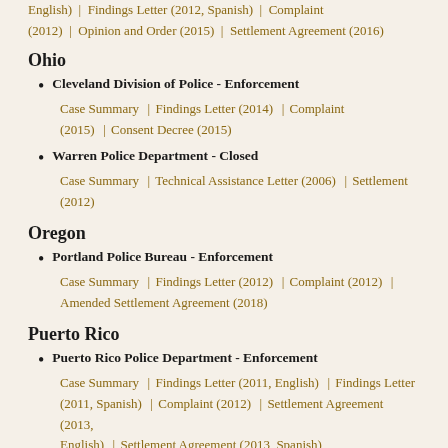English) | Findings Letter (2012, Spanish) | Complaint (2012) | Opinion and Order (2015) | Settlement Agreement (2016)
Ohio
Cleveland Division of Police - Enforcement
Case Summary | Findings Letter (2014) | Complaint (2015) | Consent Decree (2015)
Warren Police Department - Closed
Case Summary | Technical Assistance Letter (2006) | Settlement (2012)
Oregon
Portland Police Bureau - Enforcement
Case Summary | Findings Letter (2012) | Complaint (2012) | Amended Settlement Agreement (2018)
Puerto Rico
Puerto Rico Police Department - Enforcement
Case Summary | Findings Letter (2011, English) | Findings Letter (2011, Spanish) | Complaint (2012) | Settlement Agreement (2013, English) | Settlement Agreement (2013, Spanish)
Virgin Islands